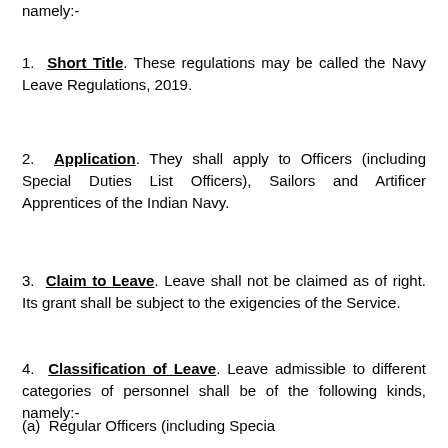namely:-
1. Short Title. These regulations may be called the Navy Leave Regulations, 2019.
2. Application. They shall apply to Officers (including Special Duties List Officers), Sailors and Artificer Apprentices of the Indian Navy.
3. Claim to Leave. Leave shall not be claimed as of right. Its grant shall be subject to the exigencies of the Service.
4. Classification of Leave. Leave admissible to different categories of personnel shall be of the following kinds, namely:-
(a) Regular Officers (including Specia